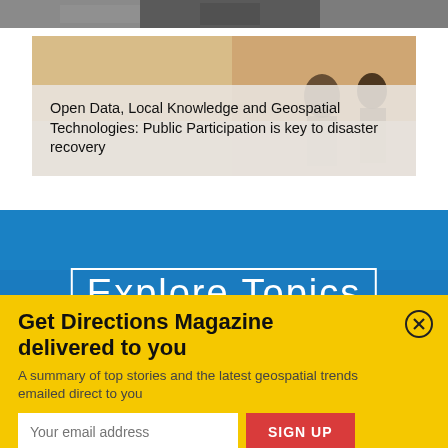[Figure (photo): Top banner image showing people, appears to be a news/editorial photo in grayscale]
[Figure (photo): Article card with background photo (warm tones, people silhouettes) and text overlay]
Open Data, Local Knowledge and Geospatial Technologies: Public Participation is key to disaster recovery
[Figure (photo): Blue section with 'Explore Topics' heading text in white outlined font]
Get Directions Magazine delivered to you
A summary of top stories and the latest geospatial trends emailed direct to you
Your email address
SIGN UP
This form is protected by reCAPTCHA and the Google Privacy Policy and Terms of Service apply.